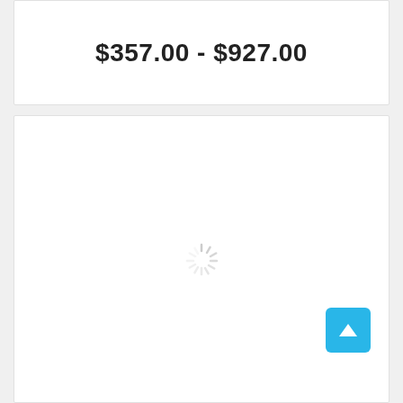$357.00 - $927.00
[Figure (other): Loading spinner (animated radial lines) centered in a white card panel, with a blue scroll-to-top button in the lower right corner containing an upward arrow icon]